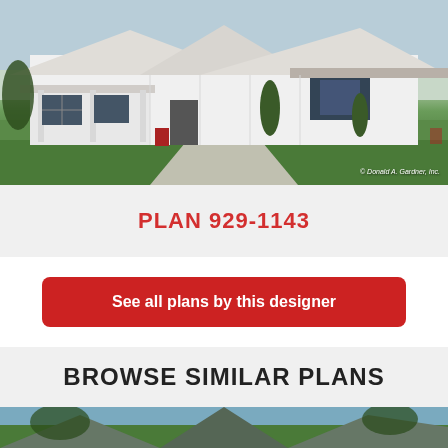[Figure (photo): Exterior rendering of a white modern farmhouse with front porch, gabled roof, and landscaping. Copyright Donald A. Gardner, Inc.]
PLAN 929-1143
See all plans by this designer
BROWSE SIMILAR PLANS
[Figure (photo): Partial exterior photo of another house plan, showing roofline against blue sky]